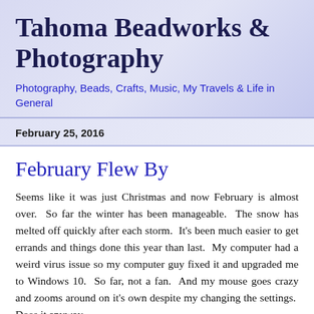Tahoma Beadworks & Photography
Photography, Beads, Crafts, Music, My Travels & Life in General
February 25, 2016
February Flew By
Seems like it was just Christmas and now February is almost over.  So far the winter has been manageable.  The snow has melted off quickly after each storm.  It's been much easier to get errands and things done this year than last.  My computer had a weird virus issue so my computer guy fixed it and upgraded me to Windows 10.  So far, not a fan.  And my mouse goes crazy and zooms around on it's own despite my changing the settings.  Does it anyway.